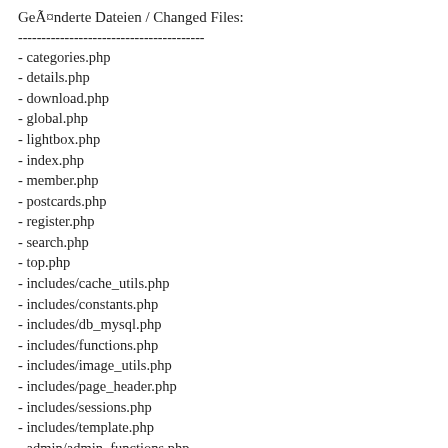Geänderte Dateien / Changed Files:
----------------------------------------
- categories.php
- details.php
- download.php
- global.php
- lightbox.php
- index.php
- member.php
- postcards.php
- register.php
- search.php
- top.php
- includes/cache_utils.php
- includes/constants.php
- includes/db_mysql.php
- includes/functions.php
- includes/image_utils.php
- includes/page_header.php
- includes/sessions.php
- includes/template.php
- admin/admin_functions.php
- admin/admin_global.php
- admin/categories.php